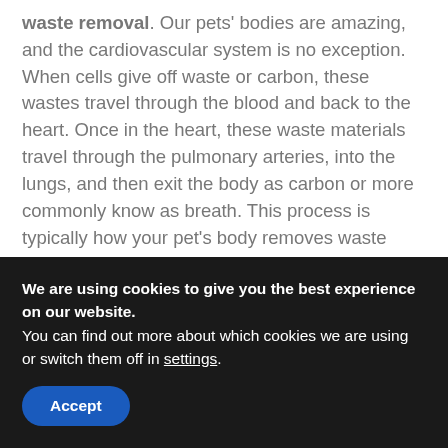waste removal. Our pets' bodies are amazing, and the cardiovascular system is no exception. When cells give off waste or carbon, these wastes travel through the blood and back to the heart. Once in the heart, these waste materials travel through the pulmonary arteries, into the lungs, and then exit the body as carbon or more commonly know as breath. This process is typically how your pet's body removes waste from the heart and blood. However, when the waste in the blood is contaminated from foreign substances, the kidney plays an even more prominent role in purification.

HWE's active ingredients help assist the body's normal
We are using cookies to give you the best experience on our website.
You can find out more about which cookies we are using or switch them off in settings.
Accept